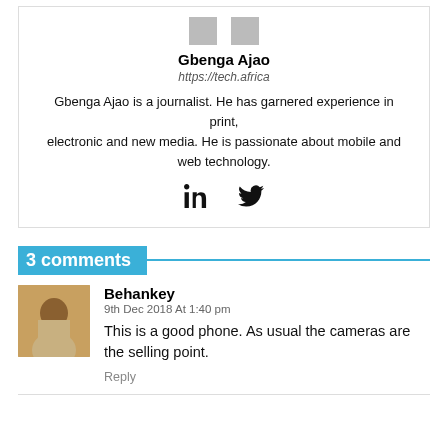[Figure (other): Two small grey icon boxes at top of author card]
Gbenga Ajao
https://tech.africa
Gbenga Ajao is a journalist. He has garnered experience in print, electronic and new media. He is passionate about mobile and web technology.
[Figure (other): LinkedIn and Twitter social icons]
3 comments
[Figure (photo): Profile photo of commenter Behankey]
Behankey
9th Dec 2018 At 1:40 pm
This is a good phone. As usual the cameras are the selling point.
Reply